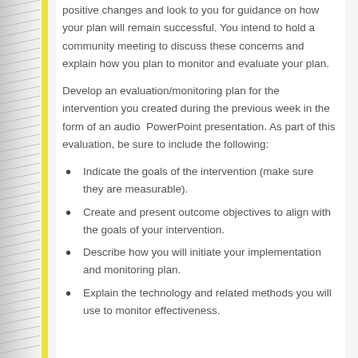positive changes and look to you for guidance on how your plan will remain successful. You intend to hold a community meeting to discuss these concerns and explain how you plan to monitor and evaluate your plan.
Develop an evaluation/monitoring plan for the intervention you created during the previous week in the form of an audio PowerPoint presentation. As part of this evaluation, be sure to include the following:
Indicate the goals of the intervention (make sure they are measurable).
Create and present outcome objectives to align with the goals of your intervention.
Describe how you will initiate your implementation and monitoring plan.
Explain the technology and related methods you will use to monitor effectiveness.